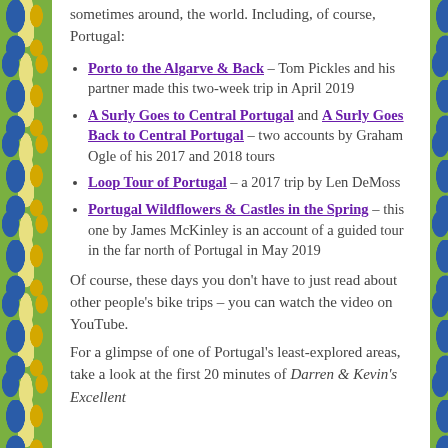sometimes around, the world. Including, of course, Portugal:
Porto to the Algarve & Back – Tom Pickles and his partner made this two-week trip in April 2019
A Surly Goes to Central Portugal and A Surly Goes Back to Central Portugal – two accounts by Graham Ogle of his 2017 and 2018 tours
Loop Tour of Portugal – a 2017 trip by Len DeMoss
Portugal Wildflowers & Castles in the Spring – this one by James McKinley is an account of a guided tour in the far north of Portugal in May 2019
Of course, these days you don't have to just read about other people's bike trips – you can watch the video on YouTube.
For a glimpse of one of Portugal's least-explored areas, take a look at the first 20 minutes of Darren & Kevin's Excellent